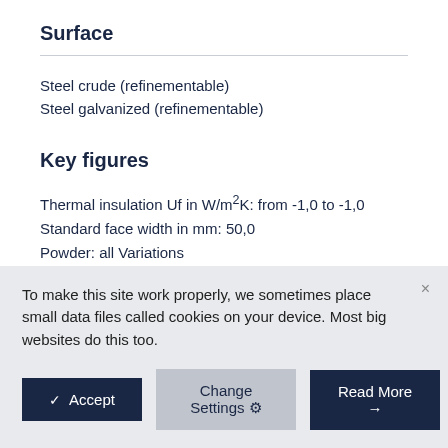Surface
Steel crude (refinementable)
Steel galvanized (refinementable)
Key figures
Thermal insulation Uf in W/m²K: from -1,0 to -1,0
Standard face width in mm: 50,0
Powder: all Variations
Wet coating: all Variations
To make this site work properly, we sometimes place small data files called cookies on your device. Most big websites do this too.